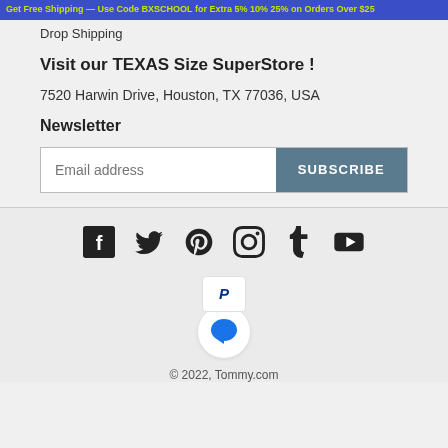Get Free Shipping — Use Code BXSCHOOL for Extra 5% 10% 25% on Orders Over $25
Drop Shipping
Visit our TEXAS Size SuperStore !
7520 Harwin Drive, Houston, TX 77036, USA
Newsletter
Email address
SUBSCRIBE
[Figure (infographic): Social media icons row: Facebook, Twitter, Pinterest, Instagram, Tumblr, YouTube]
[Figure (logo): PayPal payment icon in white rounded box, and a blue chat bubble icon in white circle]
© 2022, Tommy.com